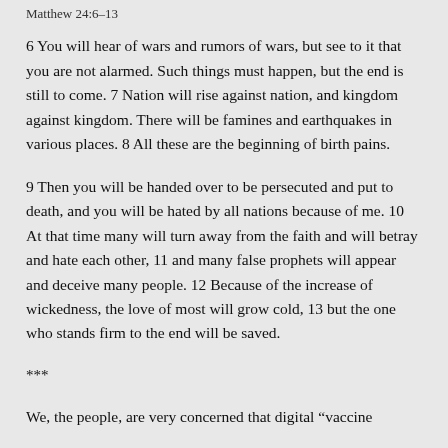Matthew 24:6–13
6 You will hear of wars and rumors of wars, but see to it that you are not alarmed. Such things must happen, but the end is still to come. 7 Nation will rise against nation, and kingdom against kingdom. There will be famines and earthquakes in various places. 8 All these are the beginning of birth pains.
9 Then you will be handed over to be persecuted and put to death, and you will be hated by all nations because of me. 10 At that time many will turn away from the faith and will betray and hate each other, 11 and many false prophets will appear and deceive many people. 12 Because of the increase of wickedness, the love of most will grow cold, 13 but the one who stands firm to the end will be saved.
***
We, the people, are very concerned that digital “vaccine